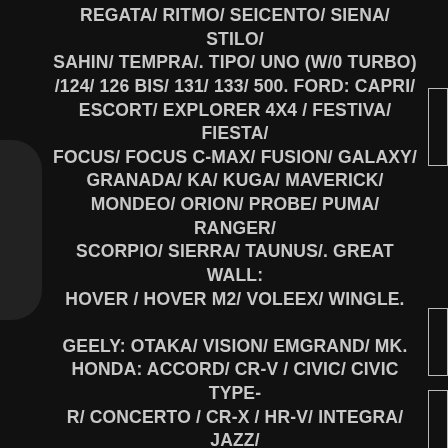REGATA/ RITMO/ SEICENTO/ SIENA/ STILO/ SAHIN/ TEMPRA/. TIPO/ UNO (W/0 TURBO) /124/ 126 BIS/ 131/ 133/ 500. FORD: CAPRI/ ESCORT/ EXPLORER 4X4 / FESTIVA/ FIESTA/ FOCUS/ FOCUS C-MAX/ FUSION/ GALAXY/ GRANADA/ KA/ KUGA/ MAVERICK/ MONDEO/ ORION/ PROBE/ PUMA/ RANGER/ SCORPIO/ SIERRA/ TAUNUS/. GREAT WALL: HOVER / HOVER M2/ VOLEEX/ WINGLE. GEELY: OTAKA/ VISION/ EMGRAND/ MK. HONDA: ACCORD/ CR-V / CIVIC/ CIVIC TYPE-R/ CONCERTO / CR-X / HR-V/ INTEGRA/ JAZZ/ LEGEND/ LOGO/ PRELUDE/ SHUTTLE/ STREAM/ OROSSTOUR / PILOT. HYUNDAI: ACCENT / ATOS/ ELANTRA/ ECEL / GETS/ GALLOPER / LANTRA/ MATRIX/ PONY / S-COUPE / SANTA - FE/ SONATA/ SOLARIS/ TERAKAN/ TUCSON/ TRAJET/ VELOSTER/ VERNA/ I10 / I20/ I30/ I40/ IX35 / IX55. JEEP: CHEROKEE / GRAND CHEROKEE / COMPASS. KIA: CARENS/ CARNIVAL/ CERATO/ CLARUS/ JOICE/ MAGENTIS/ OPIRUS/ PICANTO/ PRIDE/